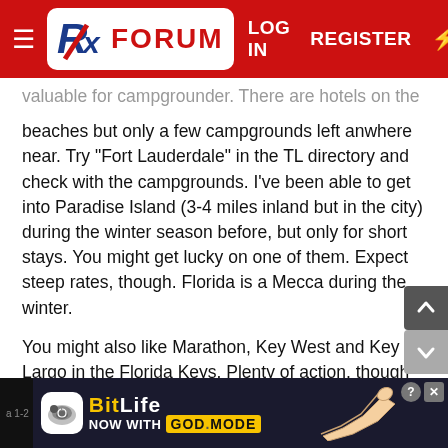FX FORUM — LOG IN   REGISTER
valuable for campgrounder. There are hotels on the beaches but only a few campgrounds left anwhere near. Try "Fort Lauderdale" in the TL directory and check with the campgrounds. I've been able to get into Paradise Island (3-4 miles inland but in the city) during the winter season before, but only for short stays. You might get lucky on one of them. Expect steep rates, though. Florida is a Mecca during the winter.
You might also like Marathon, Key West and Key Largo in the Florida Keys. Plenty of action, though the beaches are more rock than sand in most places. Try those in the TL directoryas well and call/email the resorts listed. Again, you might still get lucky with
[Figure (screenshot): BitLife ad banner — NOW WITH GOD MODE]